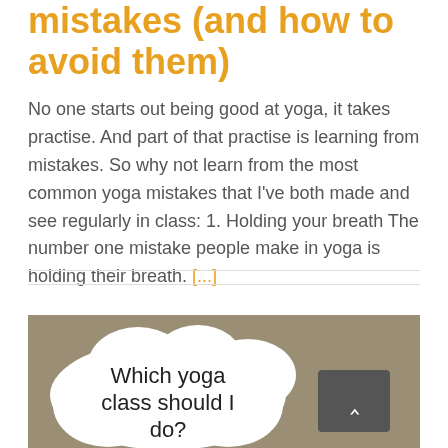mistakes (and how to avoid them)
No one starts out being good at yoga, it takes practise. And part of that practise is learning from mistakes. So why not learn from the most common yoga mistakes that I've both made and see regularly in class: 1. Holding your breath The number one mistake people make in yoga is holding their breath. [...]
[Figure (illustration): Tan/khaki background image with a white cloud-shaped speech bubble containing the text 'Which yoga class should I do?' and a dark grey square button with an upward arrow in the lower right.]